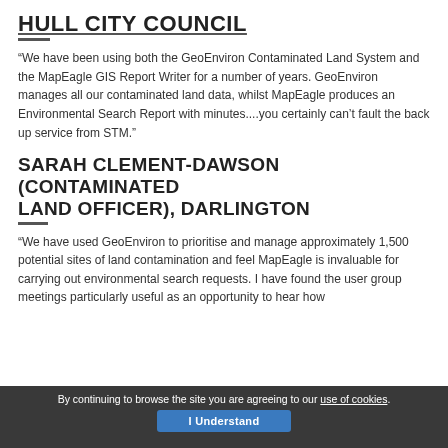HULL CITY COUNCIL
“We have been using both the GeoEnviron Contaminated Land System and the MapEagle GIS Report Writer for a number of years. GeoEnviron manages all our contaminated land data, whilst MapEagle produces an Environmental Search Report with minutes....you certainly can’t fault the back up service from STM.”
SARAH CLEMENT-DAWSON (CONTAMINATED LAND OFFICER), DARLINGTON
“We have used GeoEnviron to prioritise and manage approximately 1,500 potential sites of land contamination and feel MapEagle is invaluable for carrying out environmental search requests. I have found the user group meetings particularly useful as an opportunity to hear how
By continuing to browse the site you are agreeing to our use of cookies. I Understand